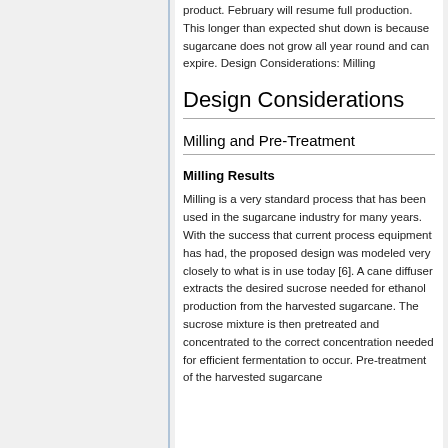product. February will resume full production. This longer than expected shut down is because sugarcane does not grow all year round and can expire. Design Considerations: Milling
Design Considerations
Milling and Pre-Treatment
Milling Results
Milling is a very standard process that has been used in the sugarcane industry for many years. With the success that current process equipment has had, the proposed design was modeled very closely to what is in use today [6]. A cane diffuser extracts the desired sucrose needed for ethanol production from the harvested sugarcane. The sucrose mixture is then pretreated and concentrated to the correct concentration needed for efficient fermentation to occur. Pre-treatment of the harvested sugarcane